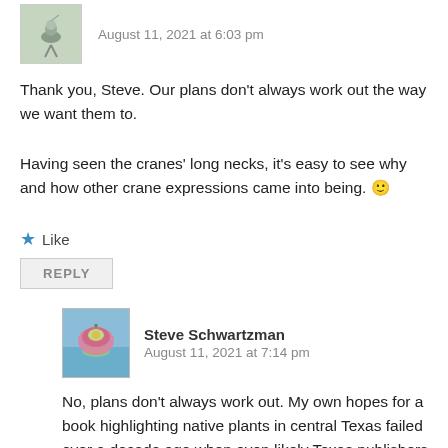[Figure (photo): Small avatar image of a bird on a perch, grayscale tones]
August 11, 2021 at 6:03 pm
Thank you, Steve. Our plans don't always work out the way we want them to.
Having seen the cranes' long necks, it's easy to see why and how other crane expressions came into being. 🙂
Like
REPLY
Steve Schwartzman
August 11, 2021 at 7:14 pm
[Figure (photo): Avatar image of a pink wildflower against a blue sky background]
No, plans don't always work out. My own hopes for a book highlighting native plants in central Texas failed over a decade ago when even likely Texas publishers weren't interested. As a result, I started the Portraits of Wildflowers blog as an